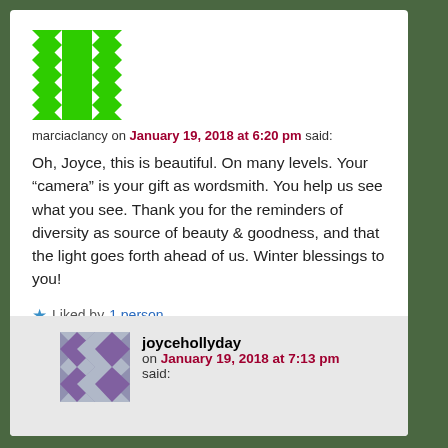[Figure (illustration): Green geometric avatar icon for user marciaclancy]
marciaclancy on January 19, 2018 at 6:20 pm said:
Oh, Joyce, this is beautiful. On many levels. Your “camera” is your gift as wordsmith. You help us see what you see. Thank you for the reminders of diversity as source of beauty & goodness, and that the light goes forth ahead of us. Winter blessings to you!
★ Liked by 1 person
Reply ↓
[Figure (illustration): Purple/grey geometric avatar icon for user joycehollyday]
joycehollyday on January 19, 2018 at 7:13 pm said: